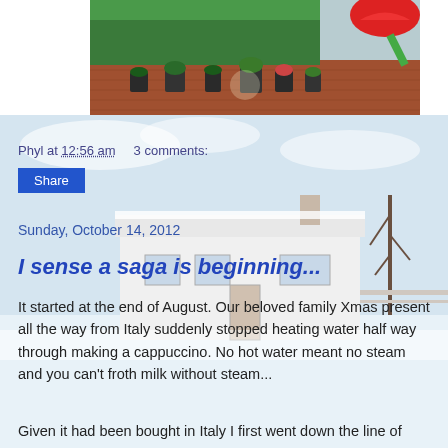[Figure (photo): Outdoor garden scene with potted plants on brick patio, red slide visible in background]
Phyl at 12:56 am    3 comments:
Share
Sunday, October 14, 2012
I sense a saga is beginning...
It started at the end of August. Our beloved family Xmas present all the way from Italy suddenly stopped heating water half way through making a cappuccino. No hot water meant no steam and you can't froth milk without steam...
Given it had been bought in Italy I first went down the line of